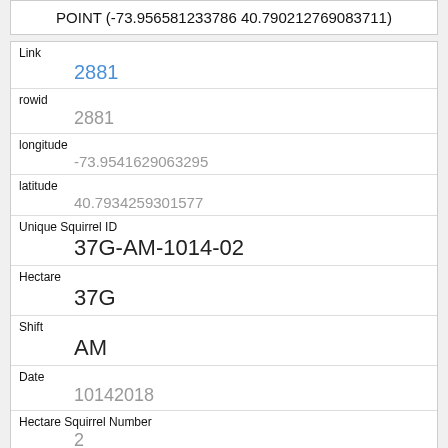POINT (-73.956581233786 40.790212769083711)
| Field | Value |
| --- | --- |
| Link | 2881 |
| rowid | 2881 |
| longitude | -73.9541629063295 |
| latitude | 40.7934259301577 |
| Unique Squirrel ID | 37G-AM-1014-02 |
| Hectare | 37G |
| Shift | AM |
| Date | 10142018 |
| Hectare Squirrel Number | 2 |
| Age |  |